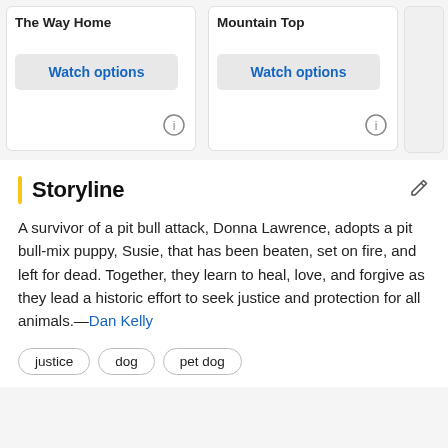The Way Home
[Figure (other): Watch options button for 'The Way Home']
Mountain Top
[Figure (other): Watch options button for 'Mountain Top']
Storyline
A survivor of a pit bull attack, Donna Lawrence, adopts a pit bull-mix puppy, Susie, that has been beaten, set on fire, and left for dead. Together, they learn to heal, love, and forgive as they lead a historic effort to seek justice and protection for all animals.—Dan Kelly
justice
dog
pet dog